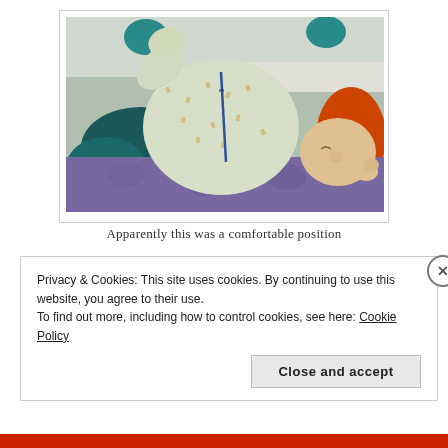[Figure (photo): A baby/infant sleeping in what appears to be an unusual or contorted position, wearing a patterned onesie (white with gold/brown pattern), lying on a purple floral blanket with an orange item visible on the right side and teal/dark blue items on the left. Background shows a room interior.]
Apparently this was a comfortable position
Privacy & Cookies: This site uses cookies. By continuing to use this website, you agree to their use.
To find out more, including how to control cookies, see here: Cookie Policy
Close and accept